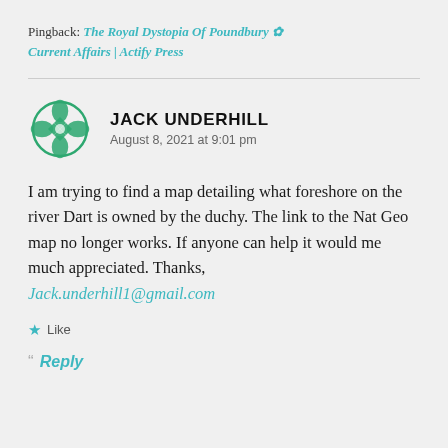Pingback: The Royal Dystopia Of Poundbury ✿ Current Affairs | Actify Press
JACK UNDERHILL
August 8, 2021 at 9:01 pm
I am trying to find a map detailing what foreshore on the river Dart is owned by the duchy. The link to the Nat Geo map no longer works. If anyone can help it would me much appreciated. Thanks, Jack.underhill1@gmail.com
Like
Reply